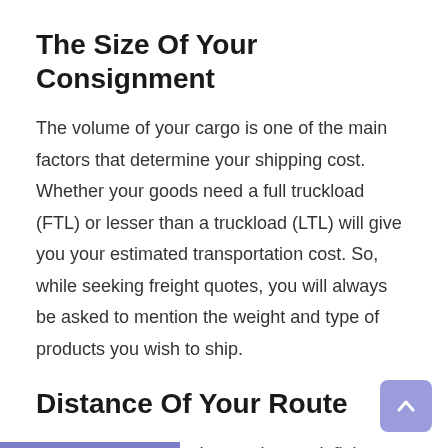The Size Of Your Consignment
The volume of your cargo is one of the main factors that determine your shipping cost. Whether your goods need a full truckload (FTL) or lesser than a truckload (LTL) will give you your estimated transportation cost. So, while seeking freight quotes, you will always be asked to mention the weight and type of products you wish to ship.
Distance Of Your Route
You will be sending the goods to a definite place. The distance between the origin and the destination place regulates the calculation of the